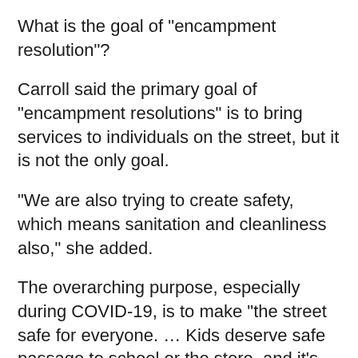What is the goal of "encampment resolution"?
Carroll said the primary goal of "encampment resolutions" is to bring services to individuals on the street, but it is not the only goal.
"We are also trying to create safety, which means sanitation and cleanliness also," she added.
The overarching purpose, especially during COVID-19, is to make "the street safe for everyone. … Kids deserve safe passage to school or the store, and it's important for us to maintain safety for all of us."
Who typically clears encampments?
The Healthy Street Operations team clears encampments. The team consists of the Department of Homelessness and Supportive Housing, the Department